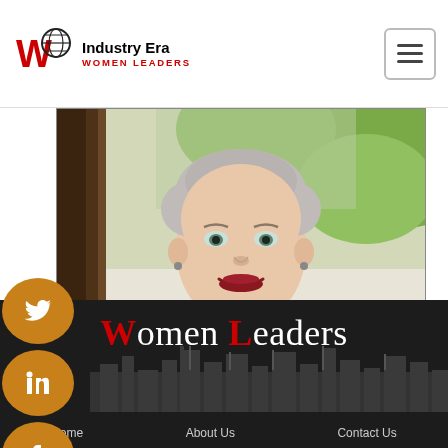Industry Era Women Leaders
[Figure (photo): Portrait photo of a woman with short grey hair, wearing a white top, smiling, photographed outdoors with green nature background and tree]
[Figure (logo): Industry Era Women Leaders logo with W globe icon]
Women Leaders
Home   About Us   Contact Us